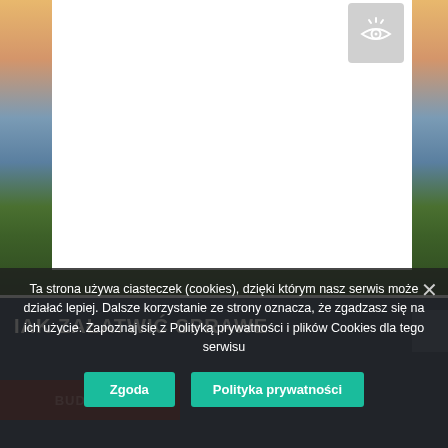[Figure (photo): Landscape background with warm sunset sky, mountains and green terrain visible on left and right sides of a white content box]
[Figure (screenshot): Eye icon button in grey rounded rectangle, top right corner]
IAK ZAŁATWIĆ SPRAWE
BUDOWNI
Ta strona używa ciasteczek (cookies), dzięki którym nasz serwis może działać lepiej. Dalsze korzystanie ze strony oznacza, że zgadzasz się na ich użycie. Zapoznaj się z Polityką prywatności i plików Cookies dla tego serwisu
Zgoda
Polityka prywatności